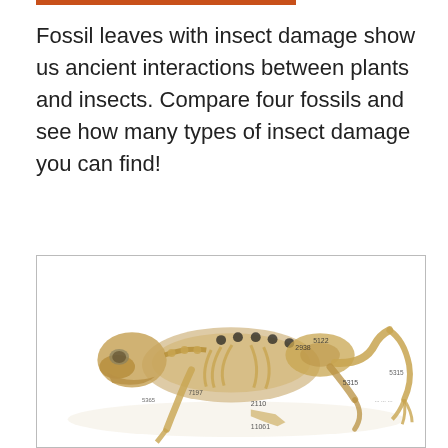Fossil leaves with insect damage show us ancient interactions between plants and insects. Compare four fossils and see how many types of insect damage you can find!
[Figure (photo): Photograph of an animal skeleton (likely a small mammal or reptile) shown in a crouched or curled pose, with various catalog number labels visible on the bones. The skeleton is displayed against a white background within a light gray border box.]